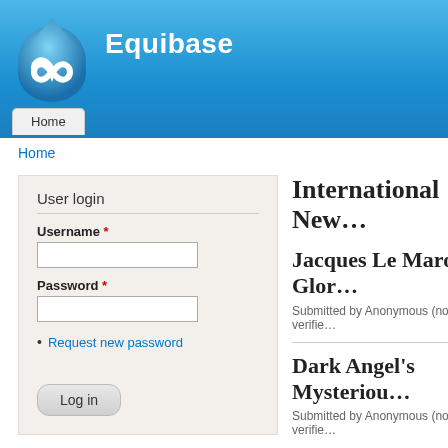[Figure (logo): Drupal drop logo in blue tones with white infinity-like symbol]
Equibase
Home (navigation tab)
Home (breadcrumb link)
User login
Username *
Password *
Request new password
Log in
International New
Jacques Le Marois Glor
Submitted by Anonymous (not verifie
Dark Angel's Mysteriou
Submitted by Anonymous (not verifie